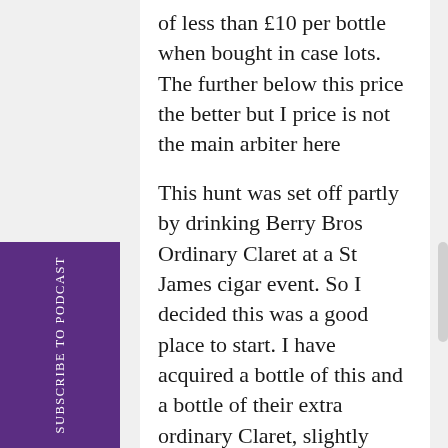of less than £10 per bottle when bought in case lots. The further below this price the better but I price is not the main arbiter here
This hunt was set off partly by drinking Berry Bros Ordinary Claret at a St James cigar event. So I decided this was a good place to start. I have acquired a bottle of this and a bottle of their extra ordinary Claret, slightly above the price point but I couldn't resist remembering how much I enjoyed the ordinary.  I have also got two bottles from Laithwaites that appear to fit the bill.
I had also been hearing Savino and I...